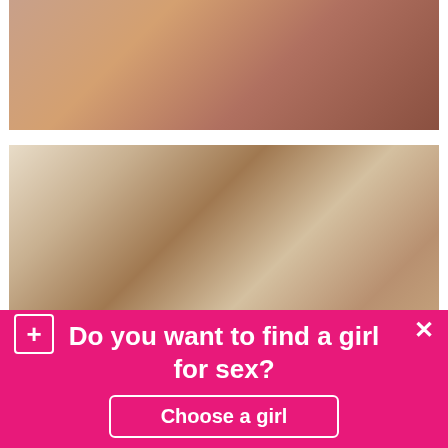[Figure (photo): Adult content photo - close up image on dark surface]
[Figure (photo): Adult content photo - group scene on couch in room with purple walls]
Do you want to find a girl for sex?
Choose a girl